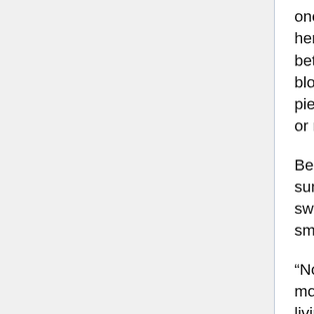once. She had cut her index finger on a glass shard when her Incense Grenade had detonated, so she placed it between her lips. When she then removed her hand as if blowing a kiss, a long, thick Blood-Sign made of a single piece of material stickily appeared from either her finger or mouth like she was a sword swallower.
Below the red-scorched Milky Way, the long-tongued summoner grabbed the weapon that was sticky with sweetly dangerous saliva, used her other hand to rub the small boy's head, and made an announcement.
“Now, make your offering!! A Blood-Sign battle is nothing more than a dance performance for Her Majesty. And the living sacrifice is an important role in this